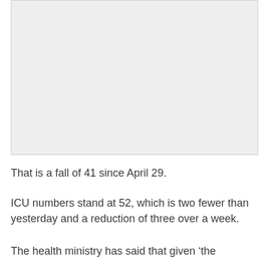[Figure (other): Placeholder image area with light gray background]
That is a fall of 41 since April 29.
ICU numbers stand at 52, which is two fewer than yesterday and a reduction of three over a week.
The health ministry has said that given ‘the